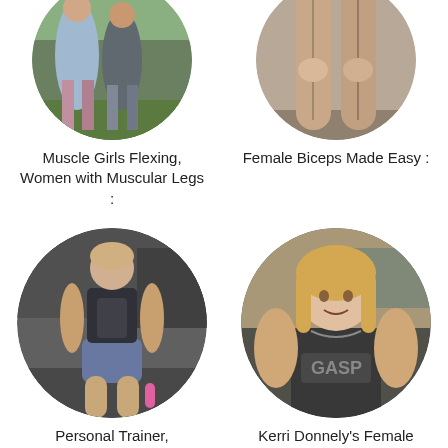[Figure (photo): Circular photo of women in athletic wear doing lunges / flexing, showing muscular legs outdoors on a field]
Muscle Girls Flexing, Women with Muscular Legs :
[Figure (photo): Circular photo of female muscular legs from behind, close-up shot]
Female Biceps Made Easy :
[Figure (photo): Circular photo of a female personal trainer with defined abs flexing in a gym, wearing black sports bra and shorts, holding a pink bottle]
Personal Trainer, Motivation to Get You Where You Need to Be in
[Figure (photo): Circular photo of Kerri Donnely, a female bodybuilder with very muscular arms wearing a GASP tank top]
Kerri Donnely's Female Body Building Journey :